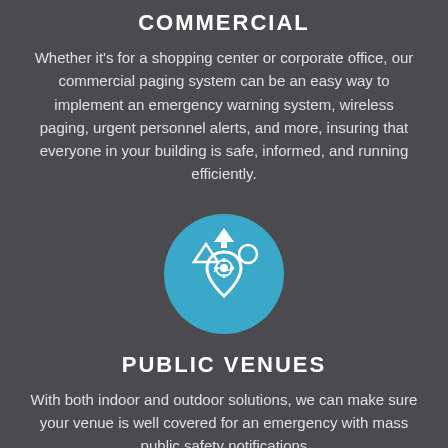COMMERCIAL
Whether it's for a shopping center or corporate office, our commercial paging system can be an easy way to implement an emergency warning system, wireless paging, urgent personnel alerts, and more, insuring that everyone in your building is safe, informed, and running efficiently.
[Figure (illustration): Blue circle icon with white outdoor/recreational venue symbols including a location pin with a roller coaster, a tree, a tent, and a ball]
PUBLIC VENUES
With both indoor and outdoor solutions, we can make sure your venue is well covered for an emergency with mass public safety notifications